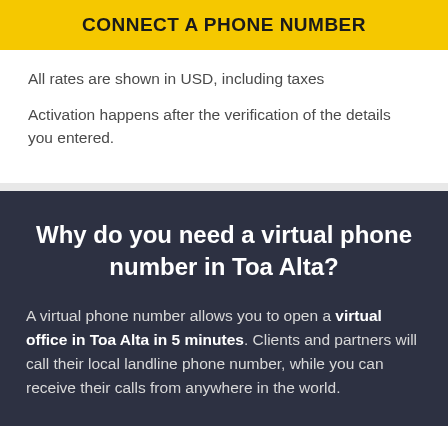CONNECT A PHONE NUMBER
All rates are shown in USD, including taxes
Activation happens after the verification of the details you entered.
Why do you need a virtual phone number in Toa Alta?
A virtual phone number allows you to open a virtual office in Toa Alta in 5 minutes. Clients and partners will call their local landline phone number, while you can receive their calls from anywhere in the world.